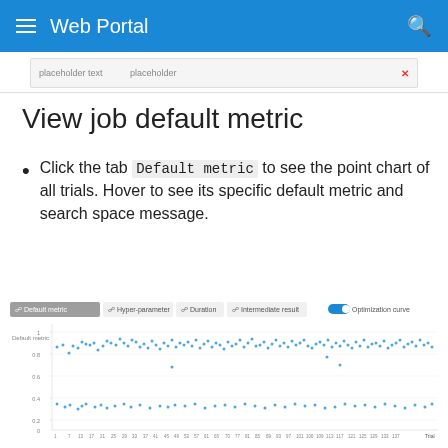Web Portal
[Figure (screenshot): Partial screenshot of a UI dialog or form with a text input and a red X close button]
View job default metric
Click the tab Default metric to see the point chart of all trials. Hover to see its specific default metric and search space message.
[Figure (scatter-plot): Default metric scatter plot showing trial values across approximately 137 trials, with values mostly between 0 and 1, showing two clusters of points — one cluster around y=0.8-1.0 and another around y=0.2-0.3. Tabs shown: Default metric (active), Hyper-parameter, Duration, Intermediate result. Toggle: Optimization curve.]